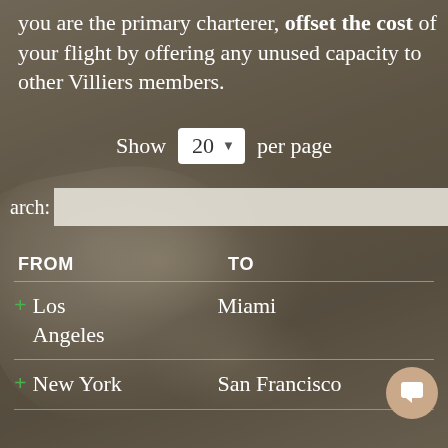you are the primary charterer, offset the cost of your flight by offering any unused capacity to other Villiers members.
Show 20 per page
arch:
| FROM | TO |
| --- | --- |
| Los Angeles | Miami |
| New York | San Francisco |